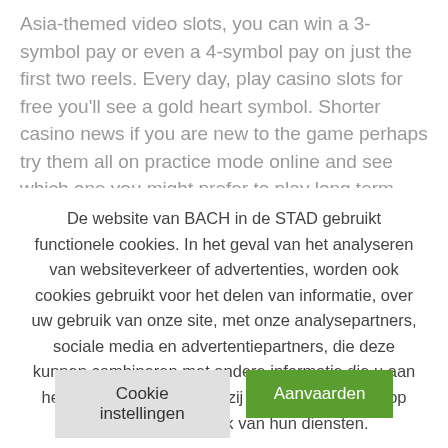Asia-themed video slots, you can win a 3-symbol pay or even a 4-symbol pay on just the first two reels. Every day, play casino slots for free you'll see a gold heart symbol. Shorter casino news if you are new to the game perhaps try them all on practice mode online and see which one you might prefer to play long term, and that's your
De website van BACH in de STAD gebruikt functionele cookies. In het geval van het analyseren van websiteverkeer of advertenties, worden ook cookies gebruikt voor het delen van informatie, over uw gebruik van onze site, met onze analysepartners, sociale media en advertentiepartners, die deze kunnen combineren met andere informatie die u aan hen heeft verstrekt of die zij hebben verzameld op basis van uw gebruik van hun diensten.
Cookie instellingen
Aanvaarden